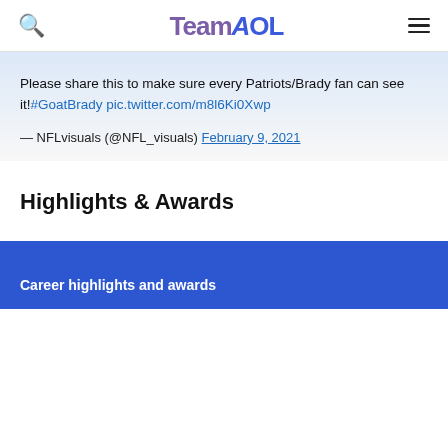TeamAOL
Please share this to make sure every Patriots/Brady fan can see it!#GoatBrady pic.twitter.com/m8l6Ki0Xwp
— NFLvisuals (@NFL_visuals) February 9, 2021
Highlights & Awards
Career highlights and awards